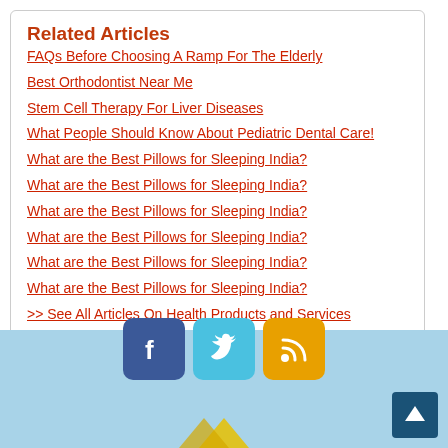Related Articles
FAQs Before Choosing A Ramp For The Elderly
Best Orthodontist Near Me
Stem Cell Therapy For Liver Diseases
What People Should Know About Pediatric Dental Care!
What are the Best Pillows for Sleeping India?
What are the Best Pillows for Sleeping India?
What are the Best Pillows for Sleeping India?
What are the Best Pillows for Sleeping India?
What are the Best Pillows for Sleeping India?
What are the Best Pillows for Sleeping India?
>> See All Articles On Health Products and Services
[Figure (infographic): Social media icons: Facebook (blue), Twitter (light blue), RSS (orange/golden). Scroll-to-top button in dark blue at bottom right. Yellow decorative element at very bottom center.]